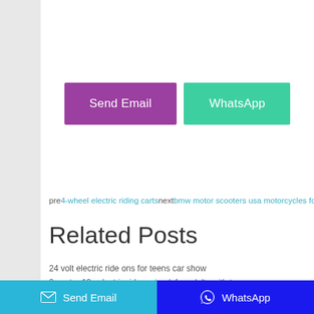[Figure (other): Send Email and WhatsApp buttons (purple and teal)]
pre— 4-wheel electric riding carts next— bmw motor scooters usa motorcycles for sale
Related Posts
24 volt electric ride ons for teens car show
2 seater 12v electric ride on truck for adults with toys near me
vespa 12v ride on scooter for sale texas
24 volt electric ride on car power steering not working
remote control ride on car 2 seater coupe for kids walmart
kids ride-on trucks 12v with remote control
best 12v ride on with remote control scooter change remote 72v 12v charger
kids u2019 bmw electric ride on motorbike - red or blue and white
bmw remote control ride on car 2 seater coupe
cole trickle ride on kids electric car 2021 cost plan
Random Posts
battery ride on toys for 5 year olds behavior is out of control means
12v ride on with parental remote start for cars in greensboro nc
Send Email   WhatsApp